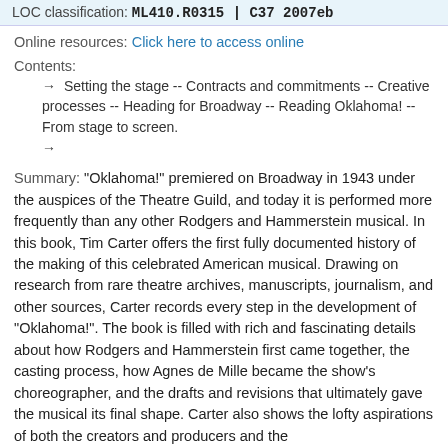LOC classification: ML410.R0315 | C37 2007eb
Online resources: Click here to access online
Contents:
→ Setting the stage -- Contracts and commitments -- Creative processes -- Heading for Broadway -- Reading Oklahoma! -- From stage to screen.
→
Summary: "Oklahoma!" premiered on Broadway in 1943 under the auspices of the Theatre Guild, and today it is performed more frequently than any other Rodgers and Hammerstein musical. In this book, Tim Carter offers the first fully documented history of the making of this celebrated American musical. Drawing on research from rare theatre archives, manuscripts, journalism, and other sources, Carter records every step in the development of "Oklahoma!". The book is filled with rich and fascinating details about how Rodgers and Hammerstein first came together, the casting process, how Agnes de Mille became the show's choreographer, and the drafts and revisions that ultimately gave the musical its final shape. Carter also shows the lofty aspirations of both the creators and producers and the